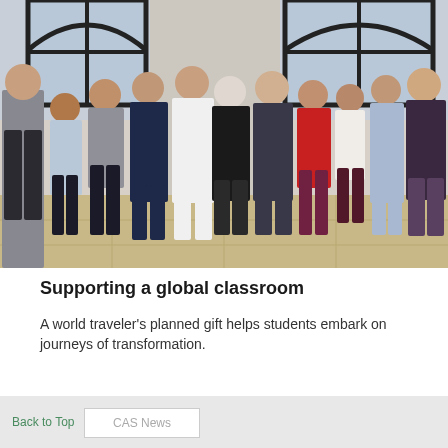[Figure (photo): Group photo of approximately 11 students and two older adults standing together in a building with arched windows, smiling at the camera. Indoor setting with tile floor.]
Supporting a global classroom
A world traveler's planned gift helps students embark on journeys of transformation.
Back to Top   CAS News